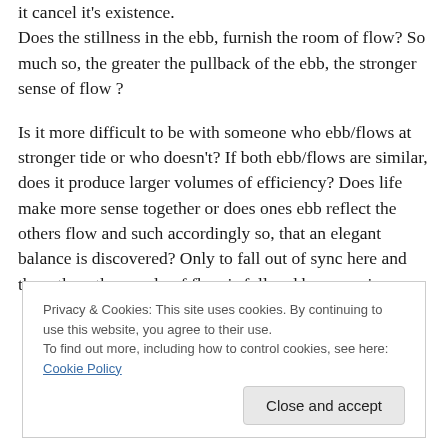it cancel it's existence. Does the stillness in the ebb, furnish the room of flow? So much so, the greater the pullback of the ebb, the stronger sense of flow ?
Is it more difficult to be with someone who ebb/flows at stronger tide or who doesn't? If both ebb/flows are similar, does it produce larger volumes of efficiency? Does life make more sense together or does ones ebb reflect the others flow and such accordingly so, that an elegant balance is discovered? Only to fall out of sync here and there thus, the supply of flow is full and becomes in
Privacy & Cookies: This site uses cookies. By continuing to use this website, you agree to their use. To find out more, including how to control cookies, see here: Cookie Policy
Close and accept